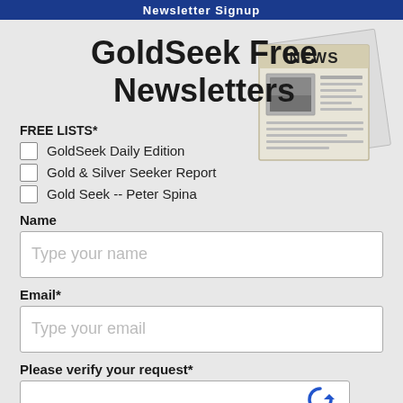Newsletter Signup
GoldSeek Free Newsletters
[Figure (illustration): Newspaper icon with 'NEWS' text on front page]
FREE LISTS*
GoldSeek Daily Edition
Gold & Silver Seeker Report
Gold Seek -- Peter Spina
Name
Type your name
Email*
Type your email
Please verify your request*